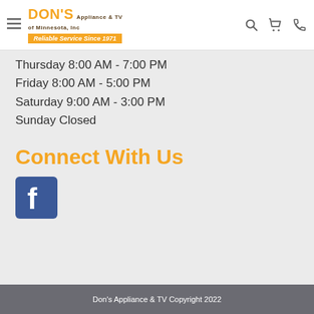DON'S Appliance & TV of Minnesota, Inc — Reliable Service Since 1971
Thursday 8:00 AM - 7:00 PM
Friday 8:00 AM - 5:00 PM
Saturday 9:00 AM - 3:00 PM
Sunday Closed
Connect With Us
[Figure (logo): Facebook logo icon — blue square with white 'f' letter]
Don's Appliance & TV Copyright 2022